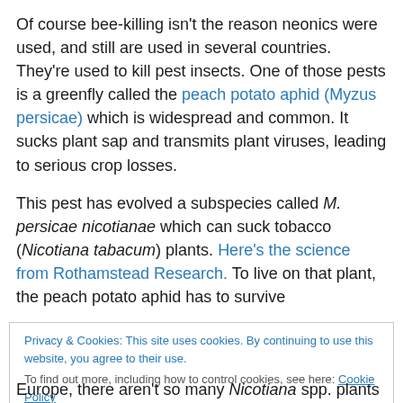Of course bee-killing isn't the reason neonics were used, and still are used in several countries. They're used to kill pest insects. One of those pests is a greenfly called the peach potato aphid (Myzus persicae) which is widespread and common. It sucks plant sap and transmits plant viruses, leading to serious crop losses.

This pest has evolved a subspecies called M. persicae nicotianae which can suck tobacco (Nicotiana tabacum) plants. Here's the science from Rothamstead Research. To live on that plant, the peach potato aphid has to survive
Privacy & Cookies: This site uses cookies. By continuing to use this website, you agree to their use.
To find out more, including how to control cookies, see here: Cookie Policy
Europe, there aren't so many Nicotiana spp. plants